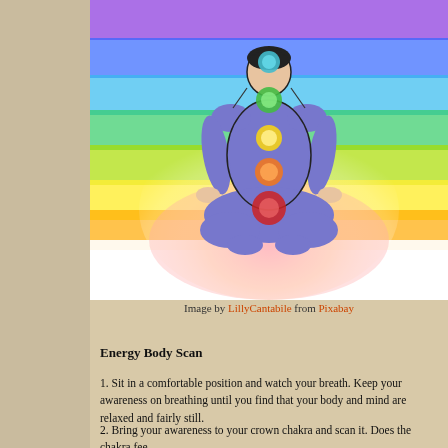[Figure (illustration): Illustration of a person meditating in lotus position with colorful chakra orbs along the body (teal at crown, green at throat, yellow at solar plexus, orange at sacral, red at root) against a rainbow-colored aura background.]
Image by LillyCantabile from Pixabay
Energy Body Scan
1. Sit in a comfortable position and watch your breath. Keep your awareness on breathing until you find that your body and mind are relaxed and fairly still.
2. Bring your awareness to your crown chakra and scan it. Does the chakra fee...